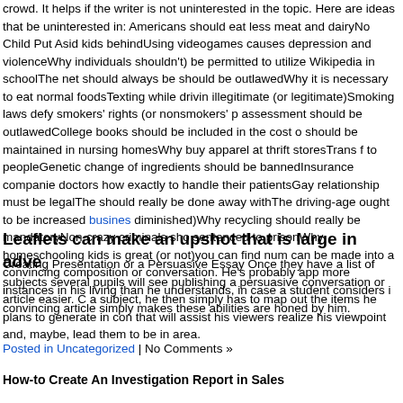crowd. It helps if the writer is not uninterested in the topic. Here are ideas that be uninterested in: Americans should eat less meat and dairyNo Child Put Aside kids behindUsing videogames causes depression and violenceWhy individuals shouldn't) be permitted to utilize Wikipedia in schoolThe net should always be should be outlawedWhy it is necessary to eat normal foodsTexting while drivin illegitimate (or legitimate)Smoking laws defy smokers' rights (or nonsmokers' p assessment should be outlawedCollege books should be included in the cost o should be maintained in nursing homesWhy buy apparel at thrift storesTrans f to peopleGenetic change of ingredients should be bannedInsurance companie doctors how exactly to handle their patientsGay relationship must be legalThe should really be done away withThe driving-age ought to be increased business diminished)Why recycling should really be mandatoryNon-crazy criminals sho sentenced to prisonWhy homeschooling kids is great (or not)you can find num can be made into a convincing composition or conversation. He's probably app more instances in his living than he understands, in case a student considers i convincing article simply makes these abilities are honed by him.
Leaflets can make an upshot that is large in adve
Creating Presentation or a Persuasive Essay Once they have a list of subjects several pupils will see publishing a persuasive conversation or article easier. C a subject, he then simply has to map out the items he plans to generate in con that will assist his viewers realize his viewpoint and, maybe, lead them to be in area.
Posted in Uncategorized | No Comments »
How-to Create An Investigation Report in Sales